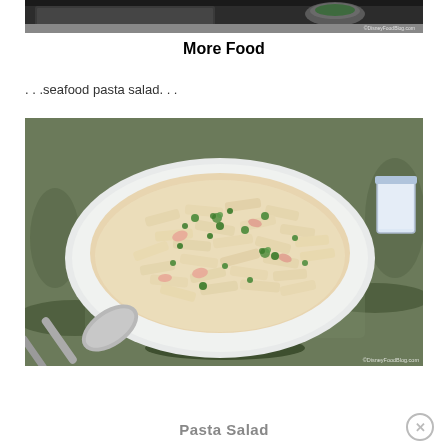[Figure (photo): Top partial image of cooking equipment on a dark stovetop surface, with a small bowl of green herbs visible. Watermark: © DisneyFoodBlog.com]
More Food
…seafood pasta salad…
[Figure (photo): A plate of creamy seafood pasta salad (penne) garnished with green herbs (parsley), served on a large white plate surrounded by seaweed and ice. A serving spoon is visible at the bottom. Watermark: © DisneyFoodBlog.com]
Pasta Salad